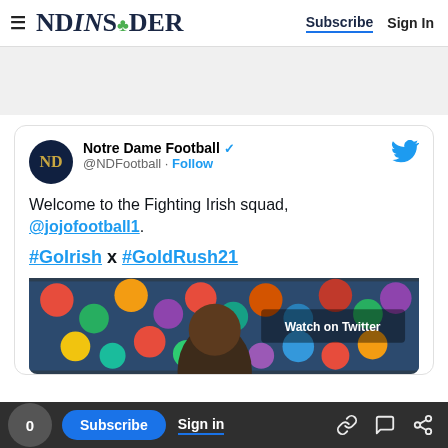NDINSiDER | Subscribe | Sign In
[Figure (screenshot): Gray advertisement placeholder area]
[Figure (screenshot): Embedded Twitter/X post from Notre Dame Football (@NDFootball) with verified badge and Follow button. Tweet text: 'Welcome to the Fighting Irish squad, @jojofootball1. #GoIrish x #GoldRush21' with a Watch on Twitter media embed showing colorful emoji background and a person's face.]
0 | Subscribe | Sign in